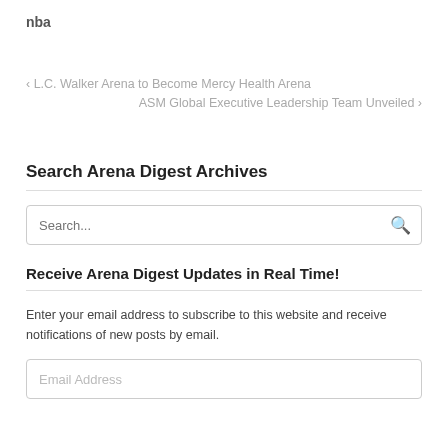nba
‹ L.C. Walker Arena to Become Mercy Health Arena
ASM Global Executive Leadership Team Unveiled ›
Search Arena Digest Archives
Receive Arena Digest Updates in Real Time!
Enter your email address to subscribe to this website and receive notifications of new posts by email.